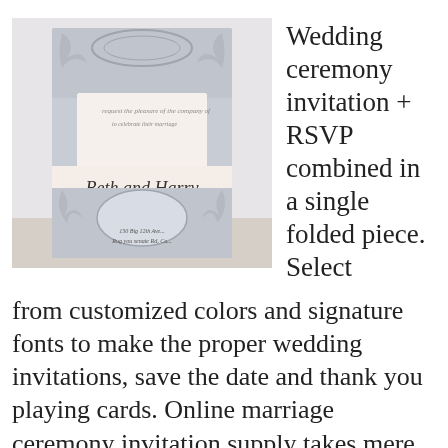[Figure (photo): A photo of a silver laser-cut folded wedding invitation with a pink belly band reading 'Beth and Harry' with floral filigree cutout design, displayed open to show RSVP section.]
Wedding ceremony invitation + RSVP combined in a single folded piece. Select from customized colors and signature fonts to make the proper wedding invitations, save the date and thank you playing cards. Online marriage ceremony invitation supply takes mere minutes to complete after your ultimate click on